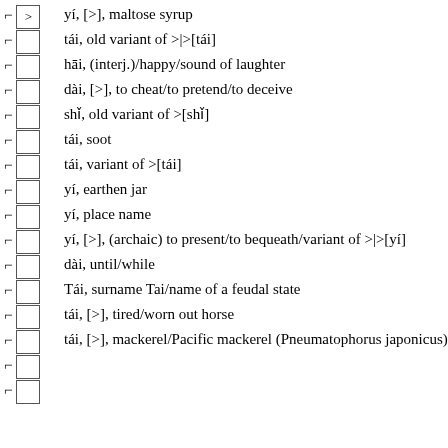yí, [□], maltose syrup
tái, old variant of □|□[tái]
hāi, (interj.)/happy/sound of laughter
dài, [□], to cheat/to pretend/to deceive
shǐ, old variant of □[shǐ]
tái, soot
tái, variant of □[tái]
yí, earthen jar
yí, place name
yí, [□], (archaic) to present/to bequeath/variant of □|□[yí]
dài, until/while
Tái, surname Tai/name of a feudal state
tái, [□], tired/worn out horse
tái, [□], mackerel/Pacific mackerel (Pneumatophorus japonicus)
□
□